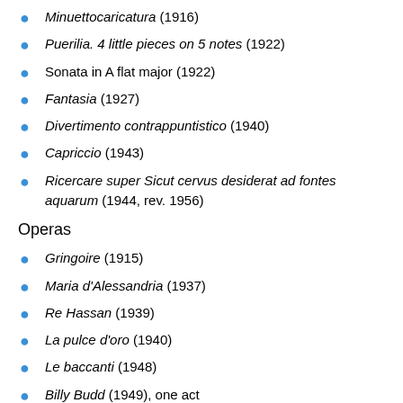Minuettocaricatura (1916)
Puerilia. 4 little pieces on 5 notes (1922)
Sonata in A flat major (1922)
Fantasia (1927)
Divertimento contrappuntistico (1940)
Capriccio (1943)
Ricercare super Sicut cervus desiderat ad fontes aquarum (1944, rev. 1956)
Operas
Gringoire (1915)
Maria d'Alessandria (1937)
Re Hassan (1939)
La pulce d'oro (1940)
Le baccanti (1948)
Billy Budd (1949), one act
Lord Inferno (1952)
Girotondo (1959)
La via della croce (1961)